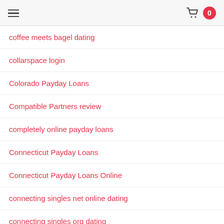☰  🛒 0
coffee meets bagel dating
collarspace login
Colorado Payday Loans
Compatible Partners review
completely online payday loans
Connecticut Payday Loans
Connecticut Payday Loans Online
connecting singles net online dating
connecting singles org dating
connecting singles org online dating
connecting singles was kostet